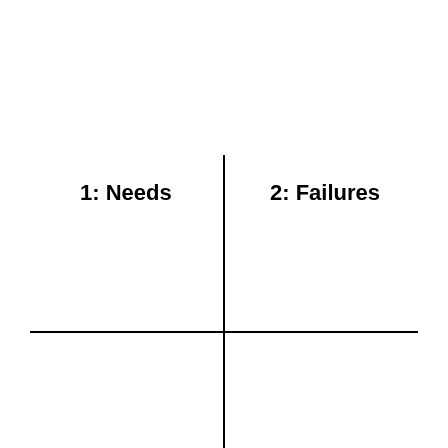[Figure (other): A two-axis quadrant diagram with a vertical line and a horizontal line forming a cross. The upper-left quadrant is labeled '1: Needs' and the upper-right quadrant is labeled '2: Failures'. The lower two quadrants are unlabeled.]